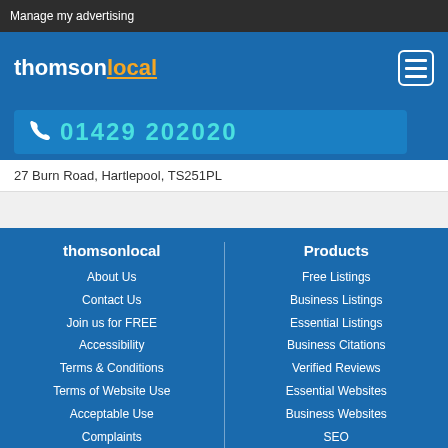Manage my advertising
[Figure (logo): thomsonlocal logo in white and orange on blue background, with hamburger menu icon on right]
01429 202020
27 Burn Road, Hartlepool, TS251PL
thomsonlocal
About Us
Contact Us
Join us for FREE
Accessibility
Terms & Conditions
Terms of Website Use
Acceptable Use
Complaints
Careers
Products
Free Listings
Business Listings
Essential Listings
Business Citations
Verified Reviews
Essential Websites
Business Websites
SEO
PPC
68% of internet traffic is generated on mobiles